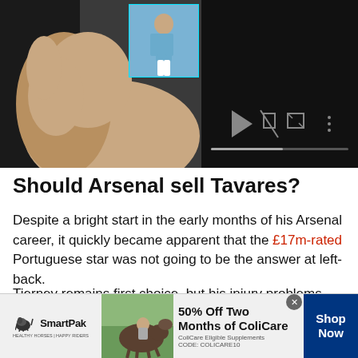[Figure (screenshot): Video player screenshot showing a person with hands near face on left panel, a small thumbnail of a soccer player in blue jersey, and a dark video control panel on the right with play, mute, fullscreen icons and a progress bar.]
Should Arsenal sell Tavares?
Despite a bright start in the early months of his Arsenal career, it quickly became apparent that the £17m-rated Portuguese star was not going to be the answer at left-back.
Tierney remains first choice, but his injury problems, which have seen him miss 48 games since joining the club less than three years ago, means that Arsenal's backup at left-back has an
[Figure (screenshot): Advertisement banner for SmartPak featuring a horse and rider photo, 50% Off Two Months of ColiCare offer with CODE: COLICARE10, and a Shop Now button.]